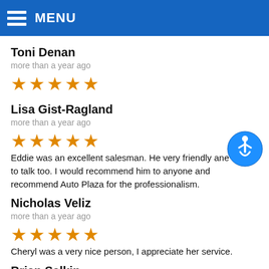MENU
Toni Denan
more than a year ago
[Figure (other): 5 orange stars rating]
Lisa Gist-Ragland
more than a year ago
Eddie was an excellent salesman. He very friendly ane easy to talk too. I would recommend him to anyone and recommend Auto Plaza for the professionalism.
Nicholas Veliz
more than a year ago
Cheryl was a very nice person, I appreciate her service.
Brian Salkin
more than a year ago